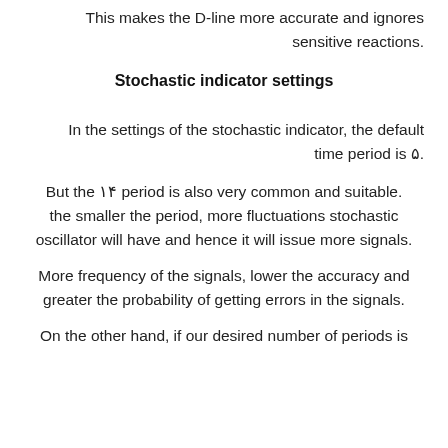This makes the D-line more accurate and ignores sensitive reactions.
Stochastic indicator settings
In the settings of the stochastic indicator, the default time period is ۵.
But the ۱۴ period is also very common and suitable. the smaller the period, more fluctuations stochastic oscillator will have and hence it will issue more signals.
More frequency of the signals, lower the accuracy and greater the probability of getting errors in the signals.
On the other hand, if our desired number of periods is